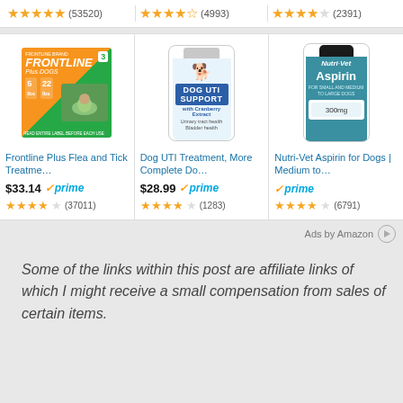[Figure (screenshot): Amazon product ad widget showing three pet products with star ratings, prices, and prime badges. Top row shows ratings: 4.5 stars (53520), 4 stars (4993), 4 stars (2391). Bottom row shows: Frontline Plus Flea and Tick Treatment $33.14 prime 4 stars (37011), Dog UTI Treatment $28.99 prime 4 stars (1283), Nutri-Vet Aspirin for Dogs prime 4.5 stars (6791). Footer: Ads by Amazon.]
Some of the links within this post are affiliate links of which I might receive a small compensation from sales of certain items.